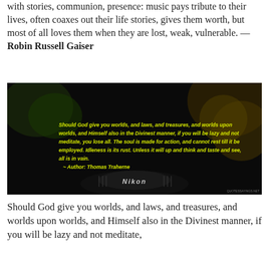with stories, communion, presence: music pays tribute to their lives, often coaxes out their life stories, gives them worth, but most of all loves them when they are lost, weak, vulnerable. — Robin Russell Gaiser
[Figure (photo): Dark background photo of a Nikon camera lens with yellow bold text overlaid: 'Should God give you worlds, and laws, and treasures, and worlds upon worlds, and Himself also in the Divinest manner, if you will be lazy and not meditate, you lose all. The soul is made for action, and cannot rest till it be employed. Idleness is its rust. Unless it will up and think and taste and see, all is in vain. ~ Author: Thomas Traherne'. Small watermark 'QUOTESSAYINGS.NET' in bottom right corner.]
Should God give you worlds, and laws, and treasures, and worlds upon worlds, and Himself also in the Divinest manner, if you will be lazy and not meditate,